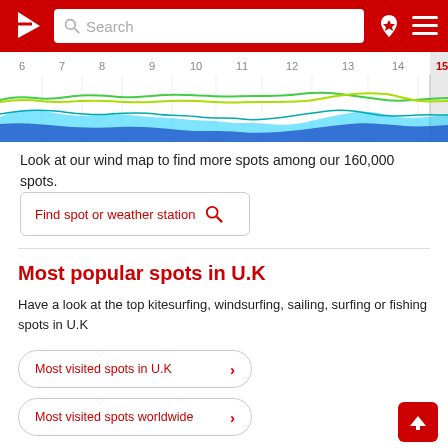Windy.com navigation header with search bar, location pin icon, and menu icon
[Figure (continuous-plot): Wind/weather forecast chart showing days 6 through 15, with colored wave-like lines (green, yellow, cyan, blue) representing wind or wave conditions over a white/grey background. Day 15 column is highlighted in light grey.]
Look at our wind map to find more spots among our 160,000 spots.
Find spot or weather station
Most popular spots in U.K
Have a look at the top kitesurfing, windsurfing, sailing, surfing or fishing spots in U.K
Most visited spots in U.K
Most visited spots worldwide